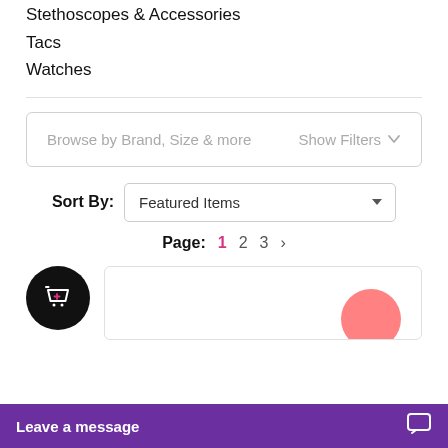Stethoscopes & Accessories
Tacs
Watches
Browse by Brand, Size & more   Show Filters ∨
Sort By:   Featured Items ∨
Page: 1  2  3  >
[Figure (screenshot): Product card area with cart icon and product image, and a purple 'Leave a message' chat bar at the bottom]